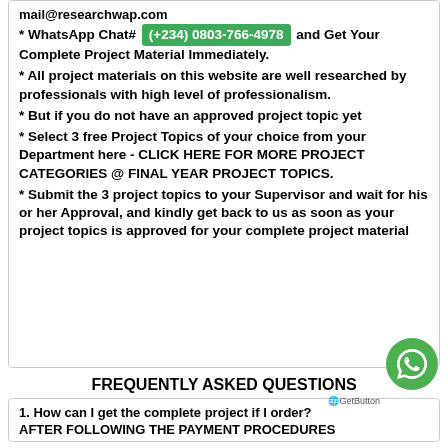mail@researchwap.com
* WhatsApp Chat# (+234) 0803-766-4978 and Get Your Complete Project Material Immediately.
* All project materials on this website are well researched by professionals with high level of professionalism.
* But if you do not have an approved project topic yet
* Select 3 free Project Topics of your choice from your Department here - CLICK HERE FOR MORE PROJECT CATEGORIES @ FINAL YEAR PROJECT TOPICS.
* Submit the 3 project topics to your Supervisor and wait for his or her Approval, and kindly get back to us as soon as your project topics is approved for your complete project material
FREQUENTLY ASKED QUESTIONS
1. How can I get the complete project if I order?
AFTER FOLLOWING THE PAYMENT PROCEDURES